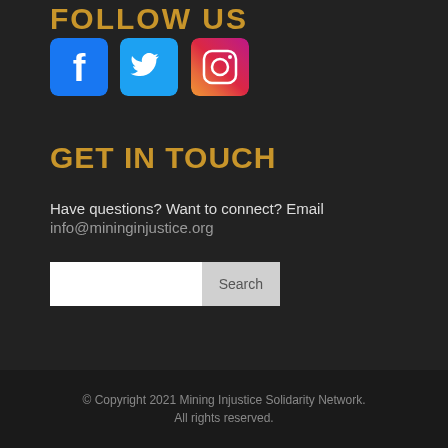FOLLOW US
[Figure (illustration): Social media icons: Facebook (blue), Twitter (blue), Instagram (gradient pink/purple/orange)]
GET IN TOUCH
Have questions? Want to connect? Email info@mininginjustice.org
[Figure (other): Search box with text input field and Search button]
© Copyright 2021 Mining Injustice Solidarity Network. All rights reserved.